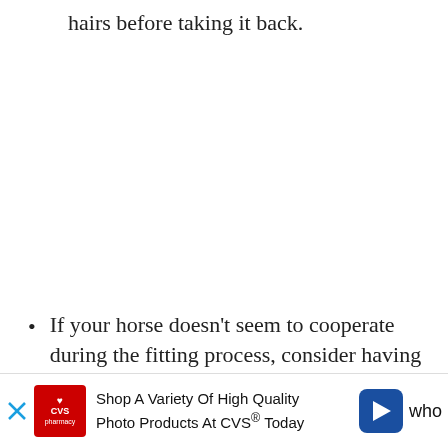hairs before taking it back.
If your horse doesn't seem to cooperate during the fitting process, consider having the blanket altered to a sizing they can wear easily. Your tack shop who
[Figure (other): CVS Pharmacy advertisement banner: 'Shop A Variety Of High Quality Photo Products At CVS® Today']